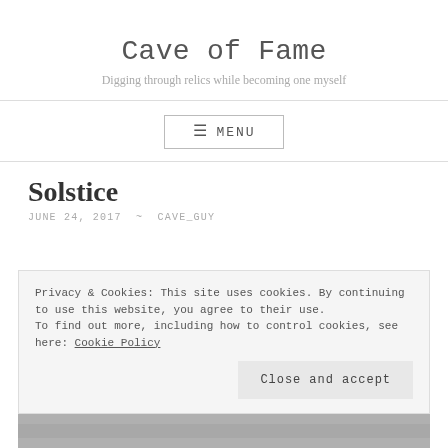Cave of Fame
Digging through relics while becoming one myself
≡ MENU
Solstice
JUNE 24, 2017 ~ CAVE_GUY
Privacy & Cookies: This site uses cookies. By continuing to use this website, you agree to their use.
To find out more, including how to control cookies, see here: Cookie Policy
Close and accept
[Figure (photo): Partial view of an image at the bottom of the page, mostly obscured]